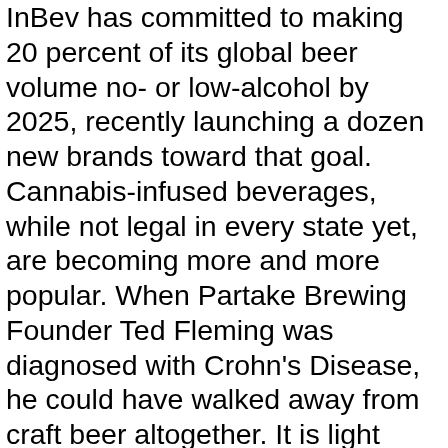InBev has committed to making 20 percent of its global beer volume no- or low-alcohol by 2025, recently launching a dozen new brands toward that goal. Cannabis-infused beverages, while not legal in every state yet, are becoming more and more popular. When Partake Brewing Founder Ted Fleming was diagnosed with Crohn's Disease, he could have walked away from craft beer altogether. It is light bodied with a crisp and clean finish. United States, New York. ABV: 0.3%. "The current NA space is 1 percent of the U.S. beer industry," he says. Everything you need to know about these decorative crystal containers. Calories: 25 ABV: Less than 0.5 percent What We Like: Surrealâs stab at the beer style à la mode is refreshingly accurate: by the nose alone, youâd be fooled into thinking this was the latest offering from the likes of Other Half, Trillium or any other of the countryâs hyped producers. Get our best cocktail recipes, tips, and more when you sign up for our newsletter. With four options, there is at least one beer that will satisfy your thirst. It offers NA versions of its classic brews, like the NA Wheat Beer and NA Original Helles. His first love remains whiskey, but he is partial to tequila, rum, gin, cognac and all things distilled. Penn's Best Non-Alcoholic Beer - 6pk - 12oz Cans | Curbside Pickup offered in the majority of stores Each can only has